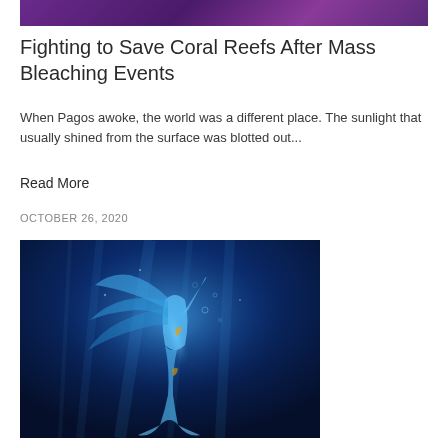[Figure (photo): Top portion of a dark purple/space-themed image, cropped]
Fighting to Save Coral Reefs After Mass Bleaching Events
When Pagos awoke, the world was a different place. The sunlight that usually shined from the surface was blotted out...
Read More
OCTOBER 26, 2020
[Figure (photo): Underwater fantasy illustration of a glowing blue mermaid-like figure swimming upward in deep blue ocean water with light rays]
Is It Time For the Gaming Community to Step Up for